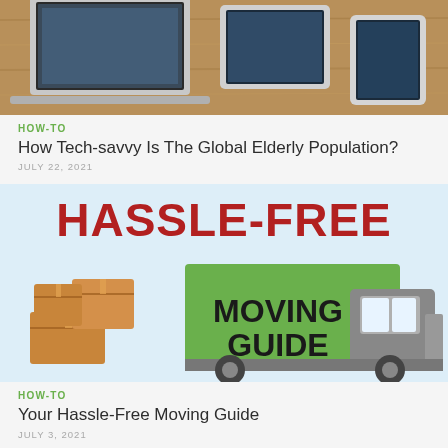[Figure (photo): Cropped photo of laptops and tablets on a wooden desk surface]
HOW-TO
How Tech-savvy Is The Global Elderly Population?
JULY 22, 2021
[Figure (illustration): Illustration showing HASSLE-FREE MOVING GUIDE with cardboard boxes and a green moving truck]
HOW-TO
Your Hassle-Free Moving Guide
JULY 3, 2021